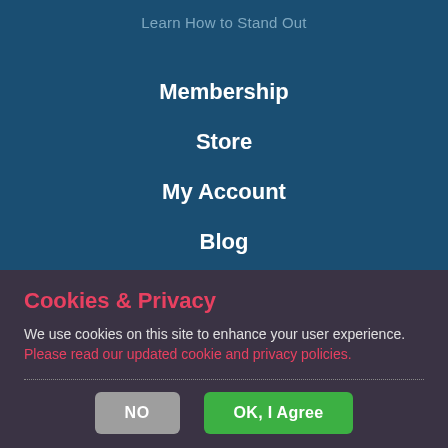Learn How to Stand Out
Membership
Store
My Account
Blog
Press Releases
Media Inquiries
Cookies & Privacy
We use cookies on this site to enhance your user experience. Please read our updated cookie and privacy policies.
NO
OK, I Agree